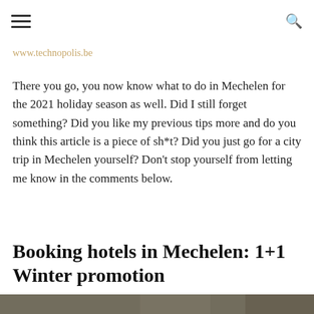[hamburger menu icon] [search icon]
www.technopolis.be
There you go, you now know what to do in Mechelen for the 2021 holiday season as well. Did I still forget something? Did you like my previous tips more and do you think this article is a piece of sh*t? Did you just go for a city trip in Mechelen yourself? Don't stop yourself from letting me know in the comments below.
Booking hotels in Mechelen: 1+1 Winter promotion
[Figure (photo): Partial bottom strip of an image, likely a hotel or city scene in Mechelen]